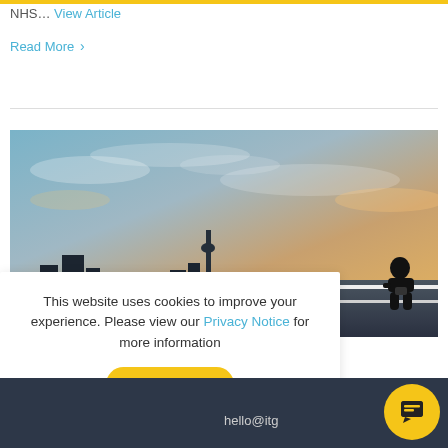NHS… View Article
Read More >
[Figure (photo): A silhouette of a person sitting on a ledge or railing against a dramatic sunset sky with city skyline in background]
This website uses cookies to improve your experience. Please view our Privacy Notice for more information
ACCEPT
hello@itg…